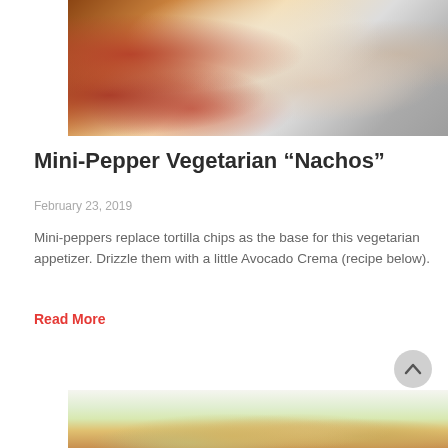[Figure (photo): Close-up photo of mini-pepper nachos with melted cheese, ground meat, red peppers, and a bowl of salsa on a white plate]
Mini-Pepper Vegetarian “Nachos”
February 23, 2019
Mini-peppers replace tortilla chips as the base for this vegetarian appetizer. Drizzle them with a little Avocado Crema (recipe below).
Read More
[Figure (photo): Partial photo of another food dish at the bottom of the page, showing green background with golden-brown food items]